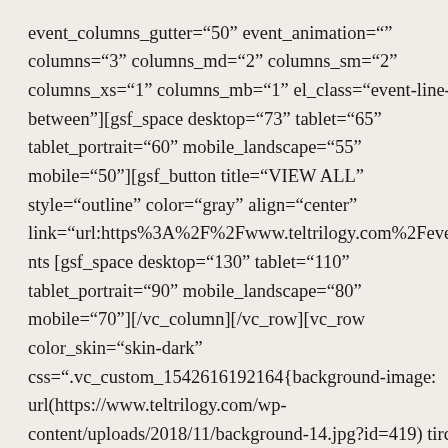event_columns_gutter="50" event_animation="" columns="3" columns_md="2" columns_sm="2" columns_xs="1" columns_mb="1" el_class="event-line-between"][gsf_space desktop="73" tablet="65" tablet_portrait="60" mobile_landscape="55" mobile="50"][gsf_button title="VIEW ALL" style="outline" color="gray" align="center" link="url:https%3A%2F%2Fwww.teltrilogy.com%2Fevents [gsf_space desktop="130" tablet="110" tablet_portrait="90" mobile_landscape="80" mobile="70"][/vc_column][/vc_row][vc_row color_skin="skin-dark" css=".vc_custom_1542616192164{background-image: url(https://www.teltrilogy.com/wp-content/uploads/2018/11/background-14.jpg?id=419) tir tet thedr end position ent